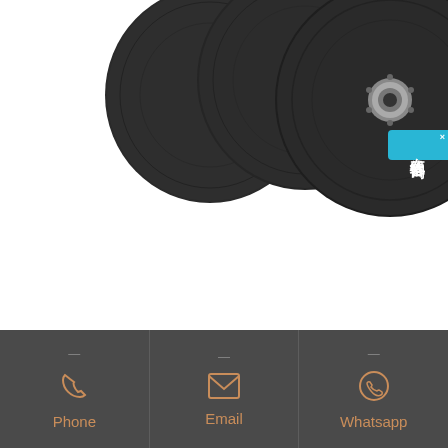[Figure (photo): Three dark grey abrasive grinding wheels/discs stacked/overlapping, one showing a center hole, photographed against a white background]
Abrasive Grinding Wheel manufacturers, China
Find Abrasive Grinding Wheel manufacturers from China. Import quality Abrasive Grinding Wheel supplied by experienced manufacturers at Global Sources. Accepts Direct Orders Product
Phone | Email | Whatsapp